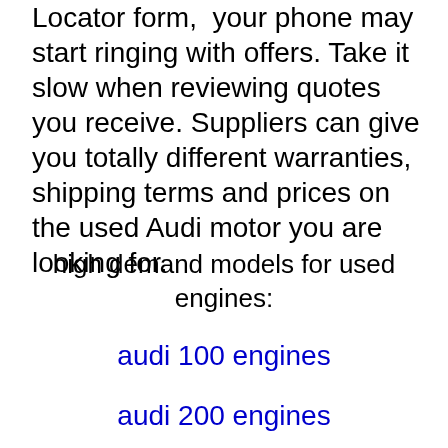Locator form,  your phone may start ringing with offers. Take it slow when reviewing quotes you receive. Suppliers can give you totally different warranties, shipping terms and prices on the used Audi motor you are looking for.
high demand models for used engines:
audi 100 engines
audi 200 engines